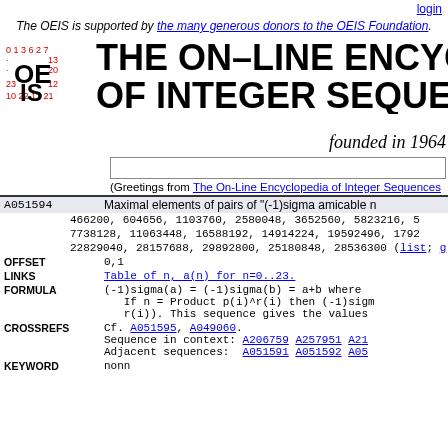login
The OEIS is supported by the many generous donors to the OEIS Foundation.
THE ON-LINE ENCYCLOPEDIA OF INTEGER SEQUENCES
founded in 1964
(Greetings from The On-Line Encyclopedia of Integer Sequences
| ID | Description |
| --- | --- |
| A051594 | Maximal elements of pairs of "(-1)sigma amicable n |
|  | 466200, 604656, 1103760, 2580048, 3652560, 5823216, 5 |
|  | 7738128, 11063448, 16588192, 14914224, 19592496, 1792 |
|  | 22829040, 28157688, 29892800, 25180848, 28536300 (list; g |
| OFFSET | 0,1 |
| LINKS | Table of n, a(n) for n=0..23. |
| FORMULA | (-1)sigma(a) = (-1)sigma(b) = a+b where
  If n = Product p(i)^r(i) then (-1)sigm
  r(i)). This sequence gives the values |
| CROSSREFS | Cf. A051595, A049060.
Sequence in context: A206759 A257951 A21
Adjacent sequences: A051591 A051592 A05 |
| KEYWORD | nonn |